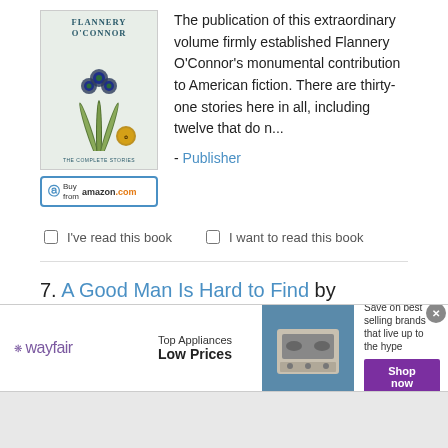[Figure (illustration): Book cover for 'The Complete Stories' by Flannery O'Connor, featuring peacock feathers on a light green background with a gold medal badge]
The publication of this extraordinary volume firmly established Flannery O'Connor's monumental contribution to American fiction. There are thirty-one stories here in all, including twelve that do n...
- Publisher
I've read this book   I want to read this book
7. A Good Man Is Hard to Find by Flannery O'Connor
[Figure (screenshot): Wayfair advertisement banner: Top Appliances Low Prices, Save on best selling brands that live up to the hype, Shop now button]